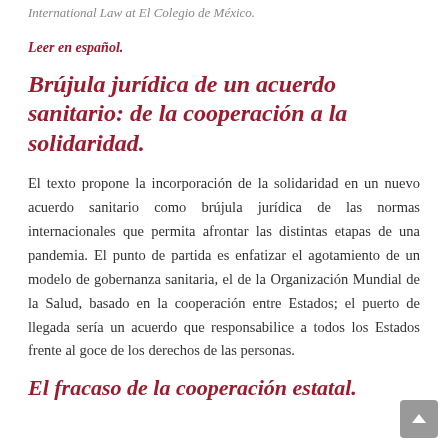International Law at El Colegio de México.
Leer en español.
Brújula jurídica de un acuerdo sanitario: de la cooperación a la solidaridad.
El texto propone la incorporación de la solidaridad en un nuevo acuerdo sanitario como brújula jurídica de las normas internacionales que permita afrontar las distintas etapas de una pandemia. El punto de partida es enfatizar el agotamiento de un modelo de gobernanza sanitaria, el de la Organización Mundial de la Salud, basado en la cooperación entre Estados; el puerto de llegada sería un acuerdo que responsabilice a todos los Estados frente al goce de los derechos de las personas.
El fracaso de la cooperación estatal.